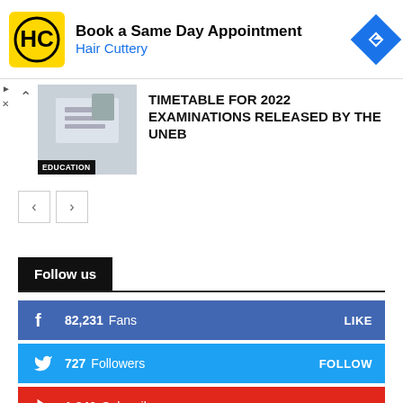[Figure (screenshot): Hair Cuttery advertisement banner: yellow HC logo, text 'Book a Same Day Appointment / Hair Cuttery', blue navigation arrow icon]
TIMETABLE FOR 2022 EXAMINATIONS RELEASED BY THE UNEB
[Figure (photo): Thumbnail image of education-related scene with EDUCATION label overlay]
< >
Follow us
82,231  Fans  LIKE
727  Followers  FOLLOW
1,840  Subscribers  SUBSCRIBE